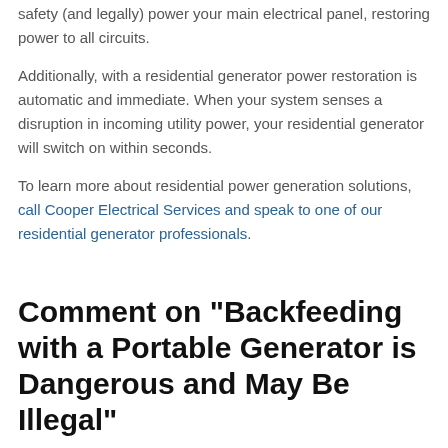safety (and legally) power your main electrical panel, restoring power to all circuits.
Additionally, with a residential generator power restoration is automatic and immediate. When your system senses a disruption in incoming utility power, your residential generator will switch on within seconds.
To learn more about residential power generation solutions, call Cooper Electrical Services and speak to one of our residential generator professionals.
Comment on "Backfeeding with a Portable Generator is Dangerous and May Be Illegal"